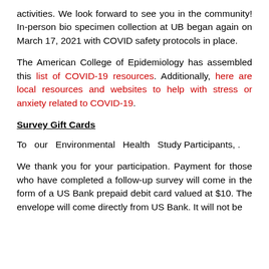activities. We look forward to see you in the community! In-person bio specimen collection at UB began again on March 17, 2021 with COVID safety protocols in place.
The American College of Epidemiology has assembled this list of COVID-19 resources. Additionally, here are local resources and websites to help with stress or anxiety related to COVID-19.
Survey Gift Cards
To our Environmental Health Study Participants, .
We thank you for your participation. Payment for those who have completed a follow-up survey will come in the form of a US Bank prepaid debit card valued at $10. The envelope will come directly from US Bank. It will not be